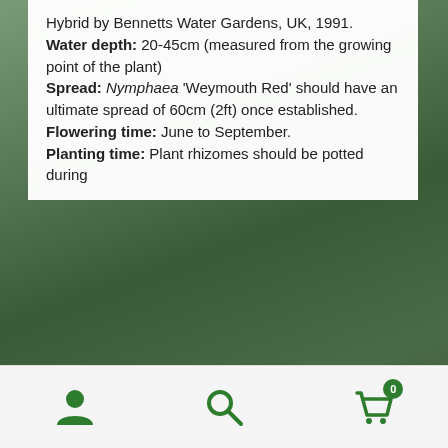Hybrid by Bennetts Water Gardens, UK, 1991.
Water depth: 20-45cm (measured from the growing point of the plant)
Spread: Nymphaea 'Weymouth Red' should have an ultimate spread of 60cm (2ft) once established.
Flowering time: June to September.
Planting time: Plant rhizomes should be potted during
August 2nd update: allow 5 working days for delivery. Free postage on orders over £50.
Dismiss